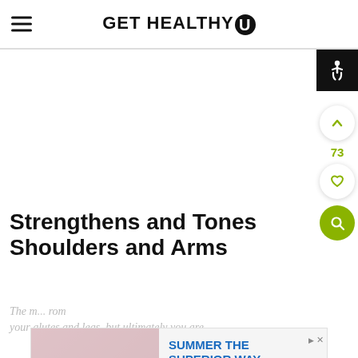GET HEALTHY U
[Figure (screenshot): White content area with accessibility icon (wheelchair symbol) in top-right black box, upvote button with count 73, heart/favorite button, and green search button on right side]
Strengthens and Tones Shoulders and Arms
The m... rom your glutes and legs, but ultimately you are
[Figure (photo): Advertisement banner: image of person at table with bottles on left, Summer The Superior Way text with Buy Now button on right]